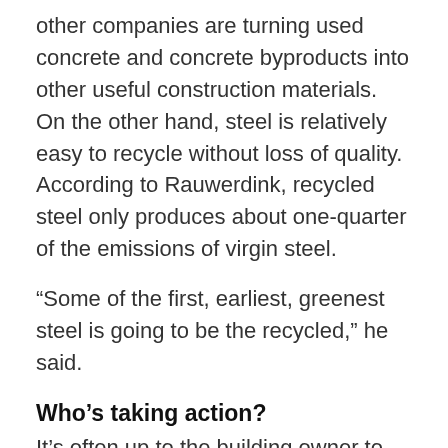other companies are turning used concrete and concrete byproducts into other useful construction materials. On the other hand, steel is relatively easy to recycle without loss of quality. According to Rauwerdink, recycled steel only produces about one-quarter of the emissions of virgin steel.
“Some of the first, earliest, greenest steel is going to be the recycled,” he said.
Who’s taking action?
It’s often up to the building owner to make decisions about the best route to addressing embodied carbon. Companies are using data tools such as the Embodied Carbon in Construction Calculator (EC3) to measure these emissions and identify options for lowering them.